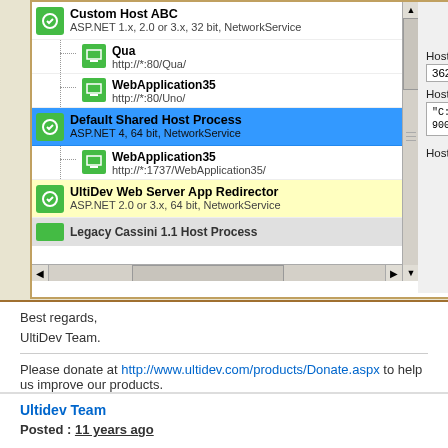[Figure (screenshot): IIS Manager or similar ASP.NET host process management UI showing a tree of host processes including Custom Host ABC, Qua, WebApplication35, Default Shared Host Process (selected/highlighted in blue), another WebApplication35, UltiDev Web Server App Redirector, and Legacy Cassini 1.1 Host Process. Right panel shows Recycle Host Process button, Host Process ID: 3624, Bit: 64, Host Process Command, and Host Name: Default Sh...]
Best regards,
UltiDev Team.
Please donate at http://www.ultidev.com/products/Donate.aspx to help us improve our products.
Ultidev Team
Posted : 11 years ago